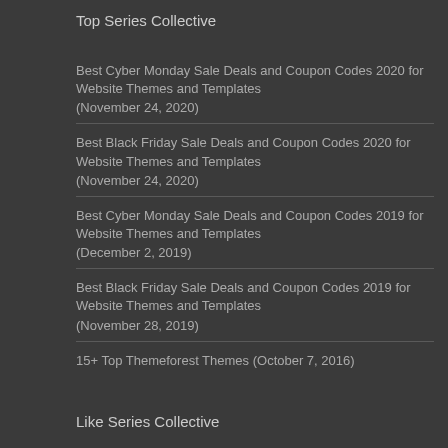Top Series Collective
Best Cyber Monday Sale Deals and Coupon Codes 2020 for Website Themes and Templates (November 24, 2020)
Best Black Friday Sale Deals and Coupon Codes 2020 for Website Themes and Templates (November 24, 2020)
Best Cyber Monday Sale Deals and Coupon Codes 2019 for Website Themes and Templates (December 2, 2019)
Best Black Friday Sale Deals and Coupon Codes 2019 for Website Themes and Templates (November 28, 2019)
15+ Top Themeforest Themes (October 7, 2016)
Like Series Collective